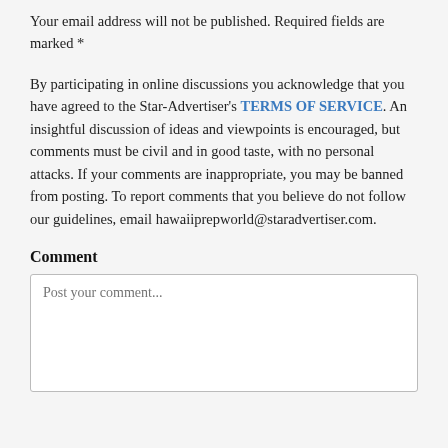Your email address will not be published. Required fields are marked *
By participating in online discussions you acknowledge that you have agreed to the Star-Advertiser's TERMS OF SERVICE. An insightful discussion of ideas and viewpoints is encouraged, but comments must be civil and in good taste, with no personal attacks. If your comments are inappropriate, you may be banned from posting. To report comments that you believe do not follow our guidelines, email hawaiiprepworld@staradvertiser.com.
Comment
Post your comment...